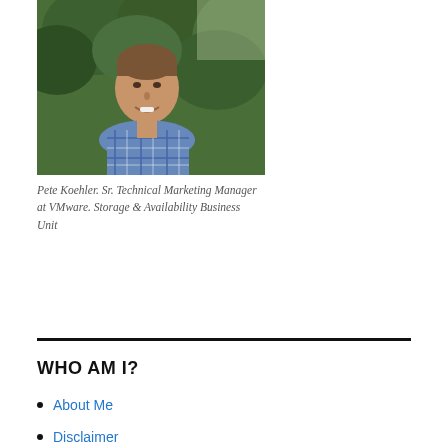[Figure (photo): Headshot photo of Pete Koehler, a smiling man wearing a blue plaid shirt, standing in front of green foliage/trees.]
Pete Koehler. Sr. Technical Marketing Manager at VMware. Storage & Availability Business Unit
WHO AM I?
About Me
Disclaimer